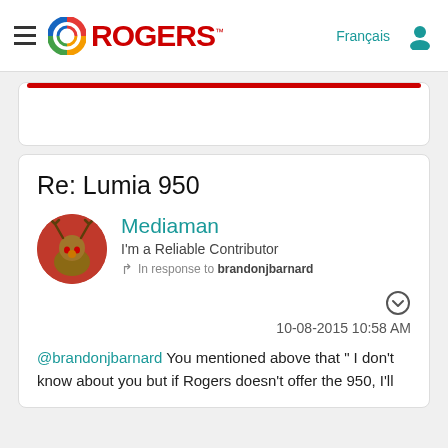Rogers Community Forum — navbar with Rogers logo, Français link, user icon
Re: Lumia 950
Mediaman
I'm a Reliable Contributor
In response to brandonjbarnard
10-08-2015 10:58 AM
@brandonjbarnard You mentioned above that " I don't know about you but if Rogers doesn't offer the 950, I'll